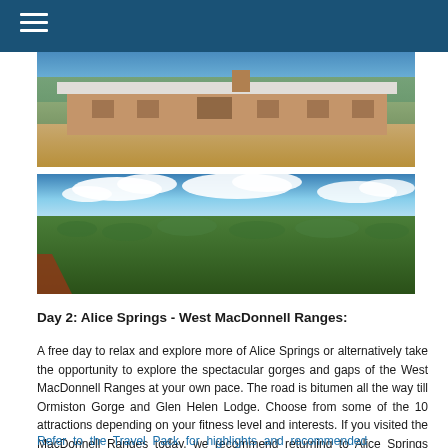[Figure (photo): Panoramic photo of a historic stone homestead with white roof situated in an Australian outback landscape with dry grass and gum trees in the background under a blue sky.]
[Figure (photo): Panoramic landscape photo of the West MacDonnell Ranges showing dense scrub vegetation stretching to the horizon with dramatic cloudy sky and red earth visible in the foreground corner.]
Day 2: Alice Springs - West MacDonnell Ranges:
A free day to relax and explore more of Alice Springs or alternatively take the opportunity to explore the spectacular gorges and gaps of the West MacDonnell Ranges at your own pace. The road is bitumen all the way till Ormiston Gorge and Glen Helen Lodge. Choose from some of the 10 attractions depending on your fitness level and interests. If you visited the MacDonnell Ranges today, we recommend returning to Alice Springs tonight for your drive to Kings Canyon tomorrow.
Refer to the Travel Pack for highlights and recommended